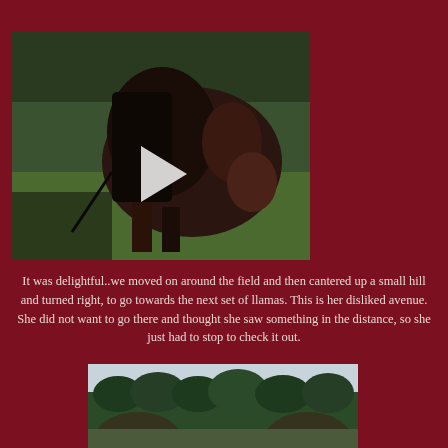[Figure (photo): A close-up view of a dark brown horse's back and mane from a rider's perspective, with green grass and trees in the background. A white play button triangle overlay is visible in the center.]
It was delightful..we moved on around the field and then cantered up a small hill and turned right, to go towards the next set of llamas. This is her disliked avenue. She did not want to go there and thought she saw something in the distance, so she just had to stop to check it out.
[Figure (photo): A landscape photo showing a tree line of dense green conifers against a light sky, with blurred horse ears or shapes visible in the foreground.]